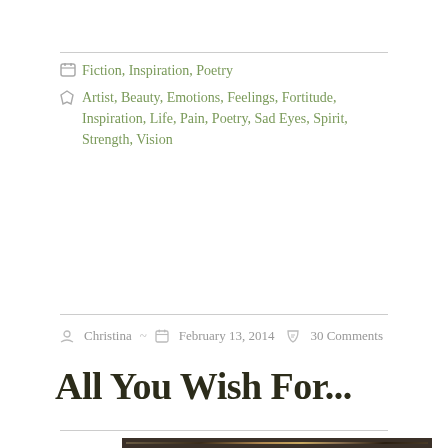Fiction, Inspiration, Poetry
Artist, Beauty, Emotions, Feelings, Fortitude, Inspiration, Life, Pain, Poetry, Sad Eyes, Spirit, Strength, Vision
Christina ~ February 13, 2014  30 Comments
All You Wish For...
[Figure (photo): Dark close-up photograph with warm golden light illuminating what appears to be a natural or organic form against a dark background]